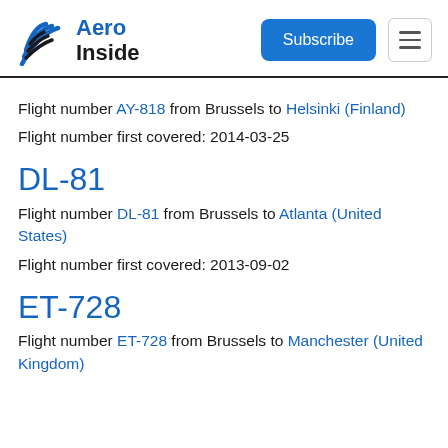Aero Inside — Subscribe button and hamburger menu
Flight number AY-818 from Brussels to Helsinki (Finland)
Flight number first covered: 2014-03-25
DL-81
Flight number DL-81 from Brussels to Atlanta (United States)
Flight number first covered: 2013-09-02
ET-728
Flight number ET-728 from Brussels to Manchester (United Kingdom)